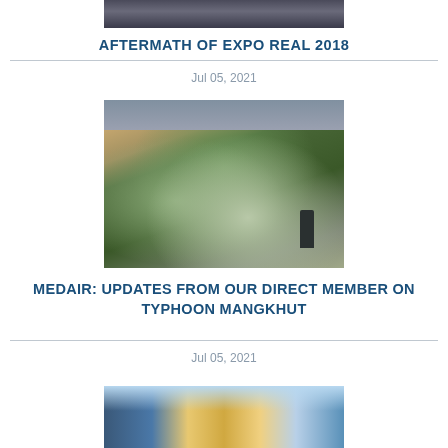[Figure (photo): Cropped top portion of a group photo showing people standing together]
AFTERMATH OF EXPO REAL 2018
Jul 05, 2021
[Figure (photo): Photo of a fallen tree with large branches and foliage sprawled across a sidewalk or road, with a person standing in the background near an overpass structure]
MEDAIR: UPDATES FROM OUR DIRECT MEMBER ON TYPHOON MANGKHUT
Jul 05, 2021
[Figure (photo): Partial view of buildings and sky, likely urban skyline photo]